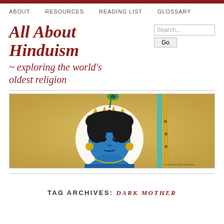ABOUT   RESOURCES   READING LIST   GLOSSARY
All About Hinduism
~ exploring the world's oldest religion
[Figure (illustration): Banner illustration of the Hindu deity Krishna with blue skin, wearing a crown with peacock feather, holding a flute, against a golden/yellow background. Small text in corner reads 'courtesy anna striblets'.]
TAG ARCHIVES: DARK MOTHER